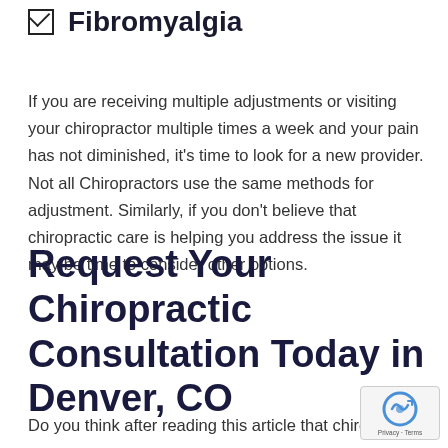☑ Fibromyalgia
If you are receiving multiple adjustments or visiting your chiropractor multiple times a week and your pain has not diminished, it's time to look for a new provider. Not all Chiropractors use the same methods for adjustment. Similarly, if you don't believe that chiropractic care is helping you address the issue it may be time to consider other options.
Request Your Chiropractic Consultation Today in Denver, CO
Do you think after reading this article that chiropract...